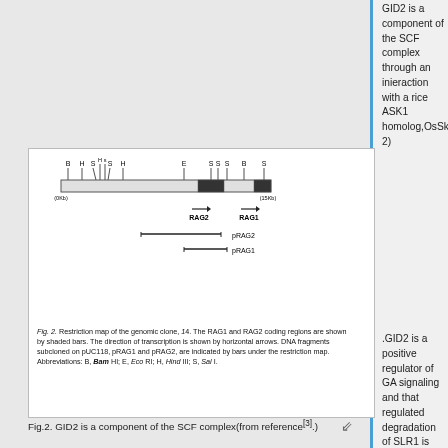GID2 is a component of the SCF complex through an inieraction with a rice ASK1 homolog,OsSkp15(Fig. 2)
[Figure (schematic): Restriction map of the genomic clone, 14. The RAG1 and RAG2 coding regions are shown by shaded bars. The diagram shows restriction sites labeled B, H, S, Hs, H, E, SS, S, B, S along the top, with horizontal arrows indicating RAG2 and RAG1 transcription directions, and bars below indicating pRAG2 and pRAG1 fragments.]
Fig. 2. Restriction map of the genomic clone, 14. The RAG1 and RAG2 coding regions are shown by shaded bars. The direction of transcription is shown by horizontal arrows. DNA fragments subcloned on pUC118, pRAG1 and pRAG2, are indicated by bars under the restriction map. Abbreviations: B, Bam HI; E, Eco RI; H, Hind III; S, Sal I.
Fig.2. GID2 is a component of the SCF complex(from reference[3].)
.GID2 is a positive regulator of GA signaling and that regulated degradation of SLR1 is initiated through GA-dependent phosphorylation and finalized